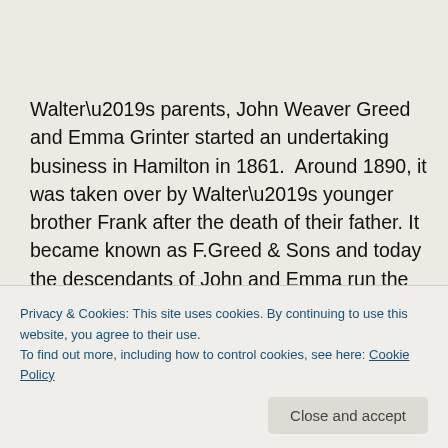Walter’s parents, John Weaver Greed and Emma Grinter started an undertaking business in Hamilton in 1861.  Around 1890, it was taken over by Walter’s younger brother Frank after the death of their father. It  became known as F.Greed & Sons and today the descendants of John and Emma run the business on the site where the business began [5...
Privacy & Cookies: This site uses cookies. By continuing to use this website, you agree to their use.
To find out more, including how to control cookies, see here: Cookie Policy
Close and accept
his uncle in the coach building trade.  After their